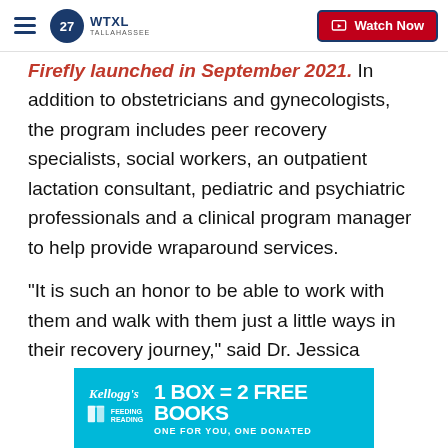WTXL TALLAHASSEE — Watch Now
Firefly launched in September 2021. In addition to obstetricians and gynecologists, the program includes peer recovery specialists, social workers, an outpatient lactation consultant, pediatric and psychiatric professionals and a clinical program manager to help provide wraparound services.
"It is such an honor to be able to work with them and walk with them just a little ways in their recovery journey," said Dr. Jessica Young, OBGYN and addiction medicine specialist.
Dr. Young says the program has enrolled roughly 140 patients
[Figure (advertisement): Kellogg's Feeding Reading advertisement: 1 BOX = 2 FREE BOOKS. One for you, one donated.]